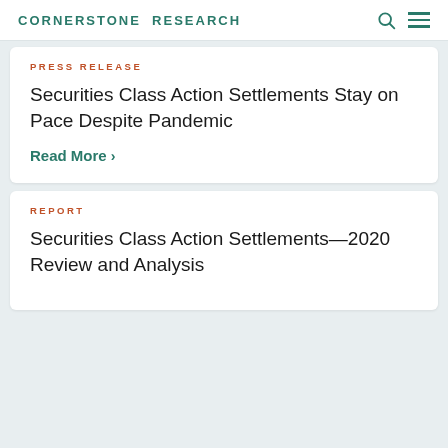CORNERSTONE RESEARCH
PRESS RELEASE
Securities Class Action Settlements Stay on Pace Despite Pandemic
Read More ›
REPORT
Securities Class Action Settlements—2020 Review and Analysis